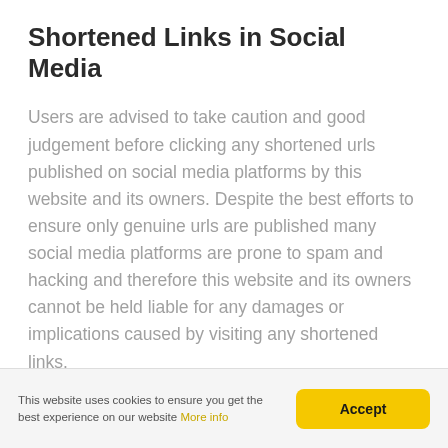Shortened Links in Social Media
Users are advised to take caution and good judgement before clicking any shortened urls published on social media platforms by this website and its owners. Despite the best efforts to ensure only genuine urls are published many social media platforms are prone to spam and hacking and therefore this website and its owners cannot be held liable for any damages or implications caused by visiting any shortened links.
This website uses cookies to ensure you get the best experience on our website More info  Accept